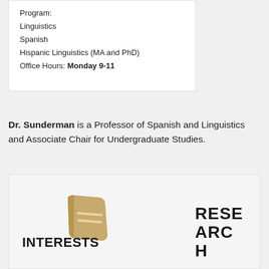Program:
Linguistics
Spanish
Hispanic Linguistics (MA and PhD)
Office Hours: Monday 9-11
Dr. Sunderman is a Professor of Spanish and Linguistics and Associate Chair for Undergraduate Studies.
[Figure (illustration): Gold/tan colored book icon]
RESEARCH
INTERESTS